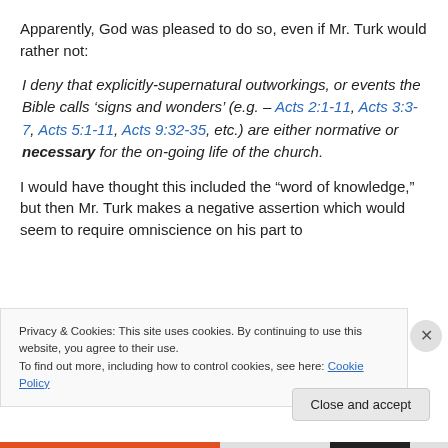Apparently, God was pleased to do so, even if Mr. Turk would rather not:
I deny that explicitly-supernatural outworkings, or events the Bible calls ‘signs and wonders’ (e.g. – Acts 2:1-11, Acts 3:3-7, Acts 5:1-11, Acts 9:32-35, etc.) are either normative or necessary for the on-going life of the church.
I would have thought this included the “word of knowledge,” but then Mr. Turk makes a negative assertion which would seem to require omniscience on his part to
Privacy & Cookies: This site uses cookies. By continuing to use this website, you agree to their use.
To find out more, including how to control cookies, see here: Cookie Policy